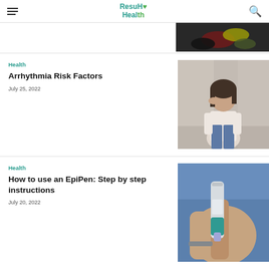ResuHealth
[Figure (photo): Partial view of colorful pills/supplements on a dark background — top of page, partially cropped]
Health
Arrhythmia Risk Factors
July 25, 2022
[Figure (photo): A woman with dark hair holding her head with hand, looking stressed, in an office or medical setting]
Health
How to use an EpiPen: Step by step instructions
July 20, 2022
[Figure (photo): Close-up of a hand holding an EpiPen auto-injector, with blue sleeve visible in background]